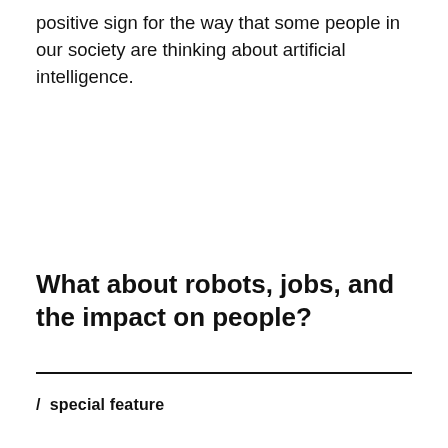positive sign for the way that some people in our society are thinking about artificial intelligence.
What about robots, jobs, and the impact on people?
/  special feature